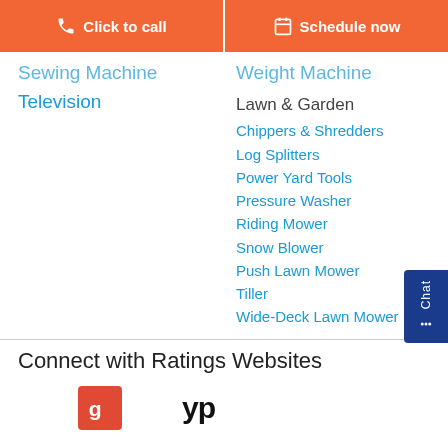Click to call | Schedule now
Sewing Machine
Television
Weight Machine
Lawn & Garden
Chippers & Shredders
Log Splitters
Power Yard Tools
Pressure Washer
Riding Mower
Snow Blower
Push Lawn Mower
Tiller
Wide-Deck Lawn Mower
Connect with Ratings Websites
[Figure (logo): Google G logo (red square with white G letter)]
[Figure (logo): YP Yellow Pages logo in bold black text]